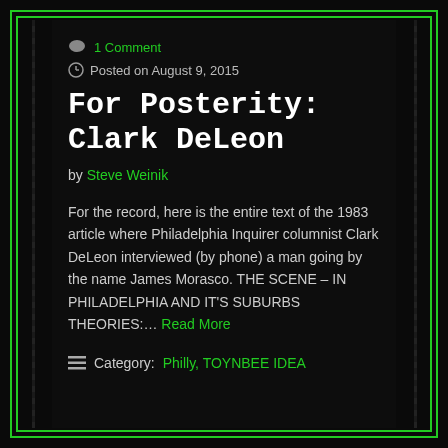1 Comment
Posted on August 9, 2015
For Posterity: Clark DeLeon
by Steve Weinik
For the record, here is the entire text of the 1983 article where Philadelphia Inquirer columnist Clark DeLeon interviewed (by phone) a man going by the name James Morasco. THE SCENE – IN PHILADELPHIA AND IT'S SUBURBS THEORIES:… Read More
Category: Philly, TOYNBEE IDEA